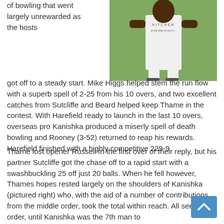[Figure (photo): A cricket player wearing a white kit with 'KITCHEN at the heart of your h...' text on the shirt, standing on a cricket ground.]
of bowling that went largely unrewarded as the hosts got off to a steady start. Mike Higgs helped stem the run flow with a superb spell of 2-25 from his 10 overs, and two excellent catches from Sutcliffe and Beard helped keep Thame in the contest. With Harefield ready to launch in the last 10 overs, overseas pro Kanishka produced a miserly spell of death bowling and Rooney (3-52) returned to reap his rewards. Harefield finished with a highly competitive 229-9.
Thame lost opener Russell in the first over of their reply, but his partner Sutcliffe got the chase off to a rapid start with a swashbuckling 25 off just 20 balls. When he fell however, Thames hopes rested largely on the shoulders of Kanishka (pictured right) who, with the aid of a number of contributions from the middle order, took the total within reach. All seemed in order, until Kanishka was the 7th man to